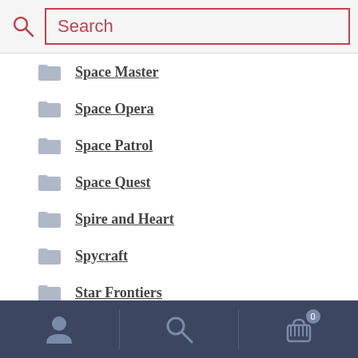[Figure (screenshot): Search bar with magnifying glass icon and pink/red border input field showing 'Search' placeholder text]
Space Master
Space Opera
Space Patrol
Space Quest
Spire and Heart
Spycraft
Star Frontiers
Stars Without Number
Stargate SG-1
[Figure (screenshot): Dark navy bottom navigation bar with user/account icon, search icon, and shopping cart icon with badge showing 0]